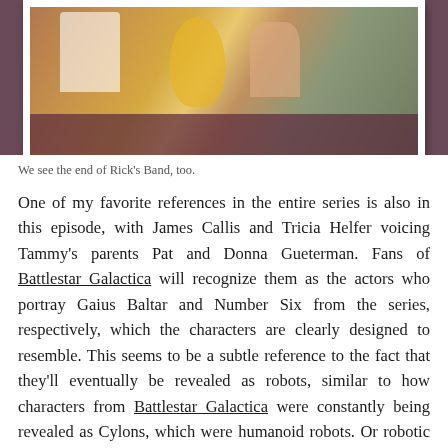[Figure (photo): Animated screenshot showing cartoon characters including a yellow creature and others at a table with a purple tablecloth, framed as a photograph]
We see the end of Rick's Band, too.
One of my favorite references in the entire series is also in this episode, with James Callis and Tricia Helfer voicing Tammy's parents Pat and Donna Gueterman. Fans of Battlestar Galactica will recognize them as the actors who portray Gaius Baltar and Number Six from the series, respectively, which the characters are clearly designed to resemble. This seems to be a subtle reference to the fact that they'll eventually be revealed as robots, similar to how characters from Battlestar Galactica were constantly being revealed as Cylons, which were humanoid robots. Or robotic humanoids, I forget.